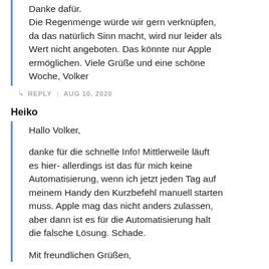Danke dafür.
Die Regenmenge würde wir gern verknüpfen, da das natürlich Sinn macht, wird nur leider als Wert nicht angeboten. Das könnte nur Apple ermöglichen. Viele Grüße und eine schöne Woche, Volker
↳ REPLY | AUG 10, 2020
Heiko
Hallo Volker,

danke für die schnelle Info! Mittlerweile läuft es hier- allerdings ist das für mich keine Automatisierung, wenn ich jetzt jeden Tag auf meinem Handy den Kurzbefehl manuell starten muss. Apple mag das nicht anders zulassen, aber dann ist es für die Automatisierung halt die falsche Lösung. Schade.

Mit freundlichen Grüßen,